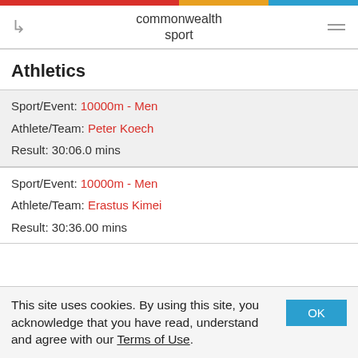commonwealth sport
Athletics
| Sport/Event: | 10000m - Men |
| Athlete/Team: | Peter Koech |
| Result: | 30:06.0 mins |
| Sport/Event: | 10000m - Men |
| Athlete/Team: | Erastus Kimei |
| Result: | 30:36.00 mins |
This site uses cookies. By using this site, you acknowledge that you have read, understand and agree with our Terms of Use.